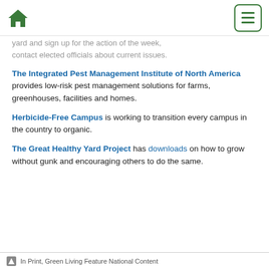Home | Menu
yard and sign up for the action of the week, contact elected officials about current issues.
The Integrated Pest Management Institute of North America provides low-risk pest management solutions for farms, greenhouses, facilities and homes.
Herbicide-Free Campus is working to transition every campus in the country to organic.
The Great Healthy Yard Project has downloads on how to grow without gunk and encouraging others to do the same.
In Print, Green Living Feature National Content